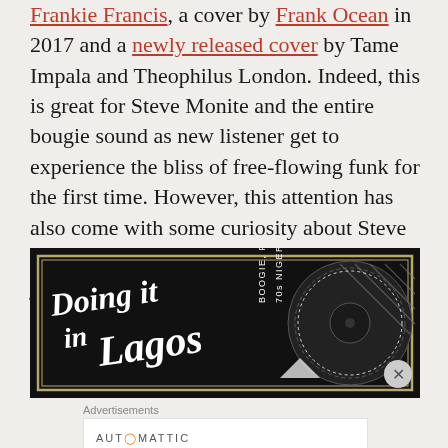Frankie Francis, a cover by Frank Ocean in 2017 and a newly released cover by Tame Impala and Theophilus London. Indeed, this is great for Steve Monite and the entire bougie sound as new listener get to experience the bliss of free-flowing funk for the first time. However, this attention has also come with some curiosity about Steve Monite with a lot of publications and music journalists looking for him in the wrong places.
[Figure (other): Album cover artwork for 'Doing it in Lagos: Boogie, Pop & Disco in Nigeria' — dark background with decorative white script lettering and a vinyl record motif]
Advertisements
[Figure (other): Automattic advertisement: 'Build a better web and a better world.']